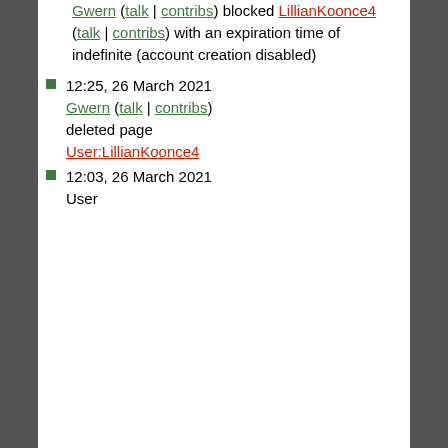Gwern (talk | contribs) blocked LillianKoonce4 (talk | contribs) with an expiration time of indefinite (account creation disabled)
12:25, 26 March 2021 Gwern (talk | contribs) deleted page User:LillianKoonce4
12:03, 26 March 2021 User